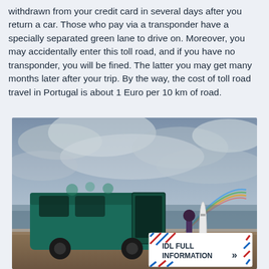withdrawn from your credit card in several days after you return a car. Those who pay via a transponder have a specially separated green lane to drive on. Moreover, you may accidentally enter this toll road, and if you have no transponder, you will be fined. The latter you may get many months later after your trip. By the way, the cost of toll road travel in Portugal is about 1 Euro per 10 km of road.
[Figure (photo): A teal/green camper van with its back door open is parked on a sandy beach. A person stands next to a surfboard with a rainbow visible in the cloudy sky behind them. The ocean is visible in the background. An overlay envelope graphic in the lower right reads 'IDL FULL INFORMATION' with chevron arrows.]